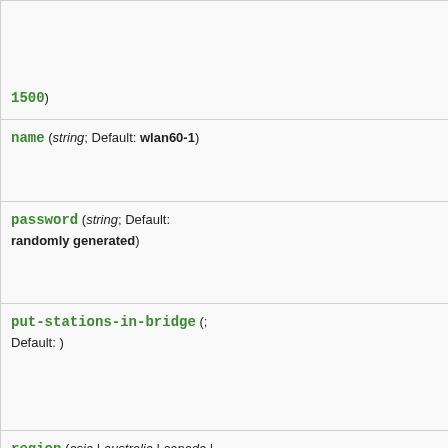| Parameter | Description |
| --- | --- |
| 1500) | maximum transmission unit |
| name (string; Default: wlan60-1) | Name of the interface |
| password (string; Default: randomly generated) | Password used for AE encryption |
| put-stations-in-bridge (; Default: ) | Put newly created slave interfaces in this bridge |
| region (asia | australia | canada | china | eu | japan | no-region-set | usa; Default: no-region-set) | Parameter to limit frequencies to use |
| scan-list (58320,60480,62640,64800,66000; Default: 58320,60480,62640,64800) | Scan list to limit connectivity over frequencies station-m... |